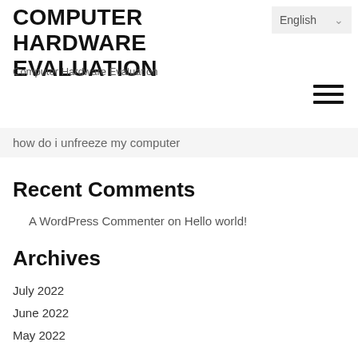COMPUTER HARDWARE EVALUATION
Computer Hardware Evaluation
English
how do i unfreeze my computer
Recent Comments
A WordPress Commenter on Hello world!
Archives
July 2022
June 2022
May 2022